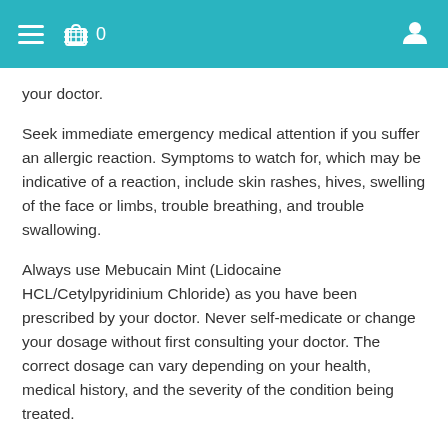0
your doctor.
Seek immediate emergency medical attention if you suffer an allergic reaction. Symptoms to watch for, which may be indicative of a reaction, include skin rashes, hives, swelling of the face or limbs, trouble breathing, and trouble swallowing.
Always use Mebucain Mint (Lidocaine HCL/Cetylpyridinium Chloride) as you have been prescribed by your doctor. Never self-medicate or change your dosage without first consulting your doctor. The correct dosage can vary depending on your health, medical history, and the severity of the condition being treated.
This medication may not be safe for all patients. Before you begin using it always disclose the following to your